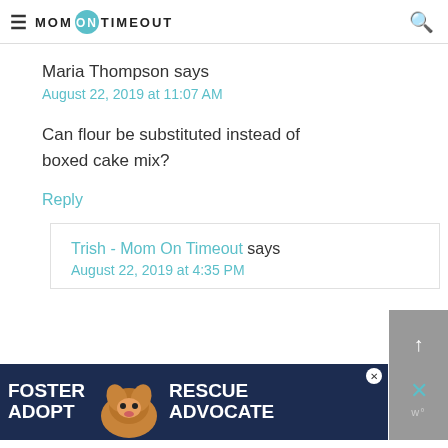Mom On Timeout
Maria Thompson says
August 22, 2019 at 11:07 AM
Can flour be substituted instead of boxed cake mix?
Reply
Trish - Mom On Timeout says
August 22, 2019 at 4:35 PM
[Figure (photo): Advertisement banner: Foster Adopt Advocate with dog image]